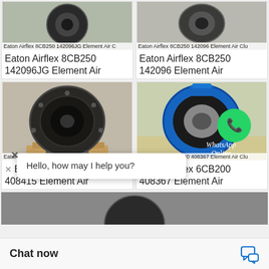[Figure (photo): Eaton Airflex 8CB250 142096JG Element Air Clutch – top left product image]
Eaton Airflex 8CB250 142096JG Element Air
[Figure (photo): Eaton Airflex 8CB250 142096 Element Air Clutch – top right product image]
Eaton Airflex 8CB250 142096 Element Air
[Figure (photo): Eaton Airflex 6CB200 408415 Element Air Clutch – bottom left product image]
Eaton Airflex 6CB200 408415 Element Air
[Figure (photo): Eaton Airflex 6CB200 408367 Element Air Clutch with WhatsApp Online overlay – bottom right product image]
Eaton Airflex 6CB200 408367 Element Air
Hello, how may I help you?
Chat now